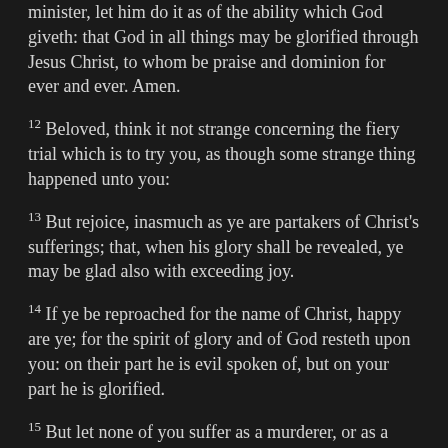minister, let him do it as of the ability which God giveth: that God in all things may be glorified through Jesus Christ, to whom be praise and dominion for ever and ever. Amen.
12 Beloved, think it not strange concerning the fiery trial which is to try you, as though some strange thing happened unto you:
13 But rejoice, inasmuch as ye are partakers of Christ's sufferings; that, when his glory shall be revealed, ye may be glad also with exceeding joy.
14 If ye be reproached for the name of Christ, happy are ye; for the spirit of glory and of God resteth upon you: on their part he is evil spoken of, but on your part he is glorified.
15 But let none of you suffer as a murderer, or as a thief, or as an evildoer, or as a busybody in other men's matters.
16 Yet if any man suffer as a Christian, let him not be ashamed; but let him glorify God on this behalf.
17 For the time is come that judgment must begin at the house of God: and if it first begin at us, what shall the end be of them that obey not the gospel of God?